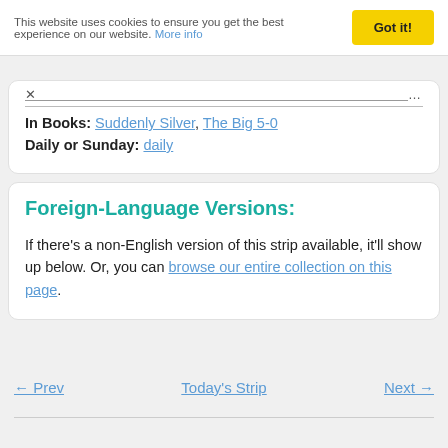This website uses cookies to ensure you get the best experience on our website. More info
In Books: Suddenly Silver, The Big 5-0
Daily or Sunday: daily
Foreign-Language Versions:
If there's a non-English version of this strip available, it'll show up below. Or, you can browse our entire collection on this page.
← Prev   Today's Strip   Next →